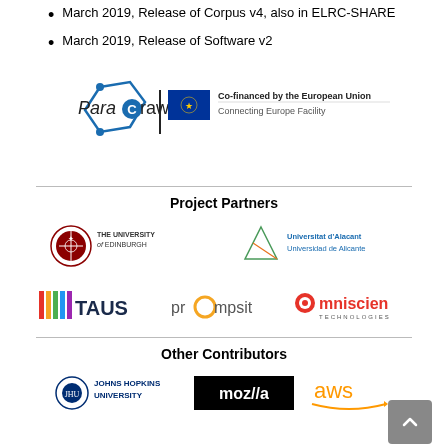March 2019, Release of Corpus v4, also in ELRC-SHARE
March 2019, Release of Software v2
[Figure (logo): ParaCrawl logo with EU Co-financed by the European Union Connecting Europe Facility badge]
Project Partners
[Figure (logo): The University of Edinburgh logo]
[Figure (logo): Universitat d'Alacant Universidad de Alicante logo]
[Figure (logo): TAUS logo]
[Figure (logo): Prompsit logo]
[Figure (logo): Omniscien Technologies logo]
Other Contributors
[Figure (logo): Johns Hopkins University logo]
[Figure (logo): Mozilla logo]
[Figure (logo): AWS logo]